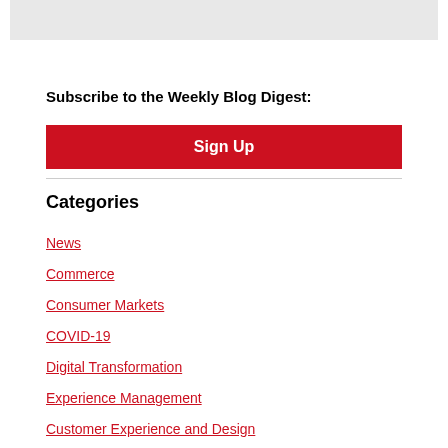[Figure (other): Gray banner bar at top of page]
Subscribe to the Weekly Blog Digest:
Sign Up
Categories
News
Commerce
Consumer Markets
COVID-19
Digital Transformation
Experience Management
Customer Experience and Design